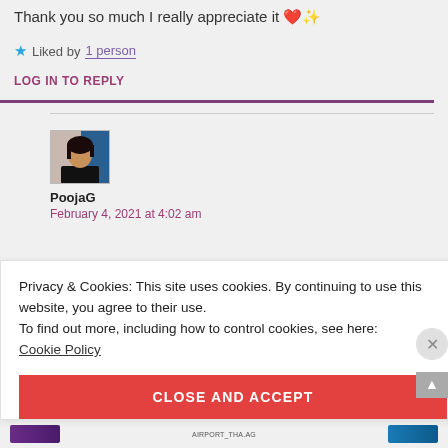Thank you so much I really appreciate it ❤️✨
★ Liked by 1 person
LOG IN TO REPLY
[Figure (photo): Avatar photo of commenter PoojaG, dark-haired woman in black jacket against blue background]
PoojaG
February 4, 2021 at 4:02 am
Privacy & Cookies: This site uses cookies. By continuing to use this website, you agree to their use.
To find out more, including how to control cookies, see here:
Cookie Policy
CLOSE AND ACCEPT